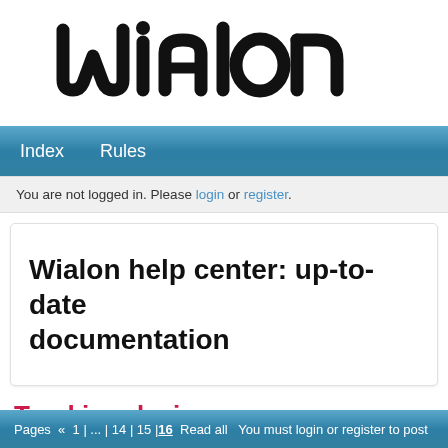[Figure (logo): Wialon logo in large black text with stylized letterforms]
Index   Rules
You are not logged in. Please login or register.
Wialon help center: up-to-date documentation
Tracking devices
Pages « 1 | ... | 14 | 15 | 16  Read all  You must login or register to post